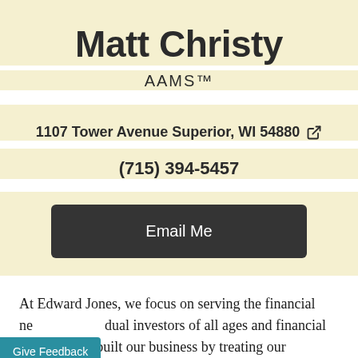Matt Christy
AAMS™
1107 Tower Avenue Superior, WI 54880
(715) 394-5457
Email Me
At Edward Jones, we focus on serving the financial needs of individual investors of all ages and financial means. We've built our business by treating our